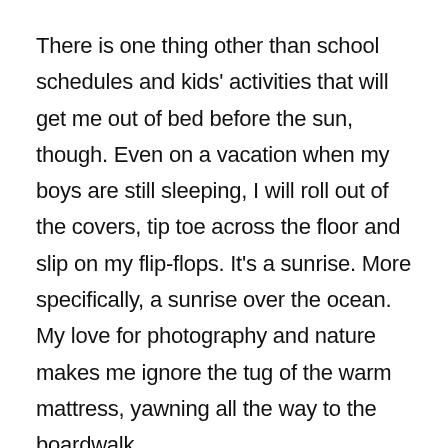There is one thing other than school schedules and kids' activities that will get me out of bed before the sun, though. Even on a vacation when my boys are still sleeping, I will roll out of the covers, tip toe across the floor and slip on my flip-flops. It's a sunrise. More specifically, a sunrise over the ocean. My love for photography and nature makes me ignore the tug of the warm mattress, yawning all the way to the boardwalk.
Last year in early summer, I knew we only had a couple of days left on our beach trip. I snuck outside in the wee hours, toting my Nikon and